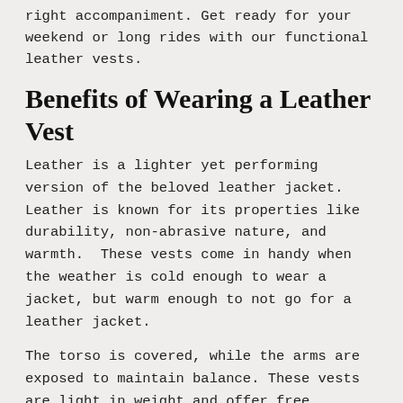right accompaniment. Get ready for your weekend or long rides with our functional leather vests.
Benefits of Wearing a Leather Vest
Leather is a lighter yet performing version of the beloved leather jacket. Leather is known for its properties like durability, non-abrasive nature, and warmth. These vests come in handy when the weather is cold enough to wear a jacket, but warm enough to not go for a leather jacket.
The torso is covered, while the arms are exposed to maintain balance. These vests are light in weight and offer free movement to the wearer.
From weekend adventures to daily biking, these vests are good companions for all kinds of use.
These are sophisticated pieces of apparel, and pairing them with clothes that complement them can make you look to-